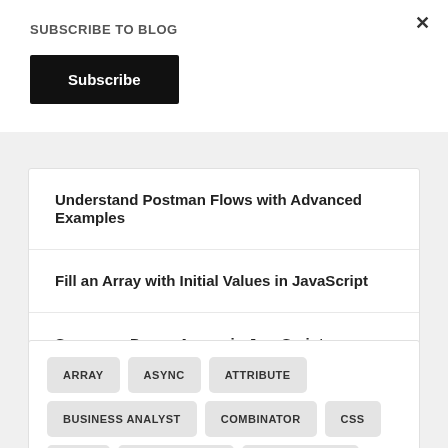SUBSCRIBE TO BLOG
Subscribe
Understand Postman Flows with Advanced Examples
Fill an Array with Initial Values in JavaScript
Sparse vs Dense Arrays in JavaScript
ARRAY  ASYNC  ATTRIBUTE  BUSINESS ANALYST  COMBINATOR  CSS  CSS3  DECLARATION  DENSE ARRAY